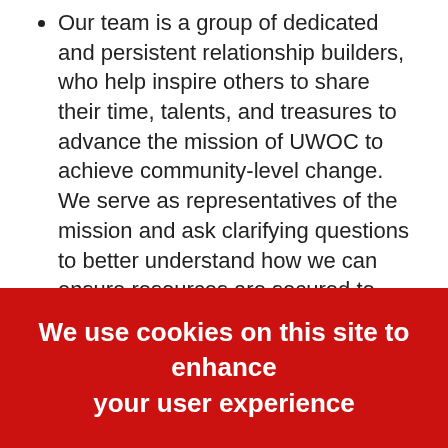Our team is a group of dedicated and persistent relationship builders, who help inspire others to share their time, talents, and treasures to advance the mission of UWOC to achieve community-level change. We serve as representatives of the mission and ask clarifying questions to better understand how we can ensure resources are secured to fund the mission.
We are looking for someone to take on the role of our Resource Development Operations Specialist (RDOS). This role will require data management, analytical, and organizational skills. To excel you must be willing and able to
We use cookies on this site to enhance your user experience